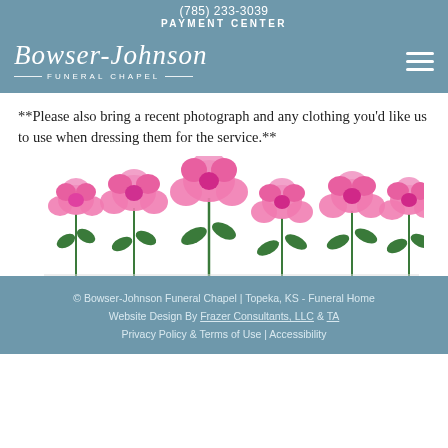(785) 233-3039
PAYMENT CENTER
[Figure (logo): Bowser-Johnson Funeral Chapel logo in white script with decorative lines and subtitle text, on steel blue background. Hamburger menu icon at top right.]
**Please also bring a recent photograph and any clothing you'd like us to use when dressing them for the service.**
[Figure (photo): A row of six pink peony flowers with green stems and leaves, isolated on white background.]
© Bowser-Johnson Funeral Chapel | Topeka, KS - Funeral Home
Website Design By Frazer Consultants, LLC & TA
Privacy Policy & Terms of Use | Accessibility